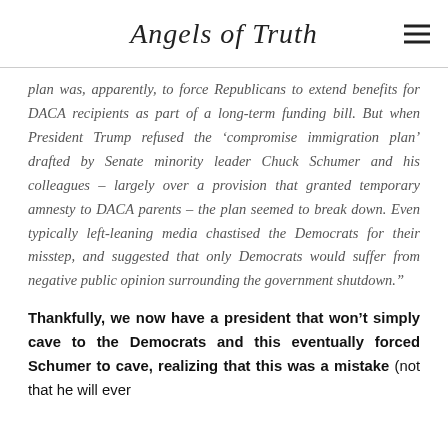Angels of Truth
plan was, apparently, to force Republicans to extend benefits for DACA recipients as part of a long-term funding bill. But when President Trump refused the ‘compromise immigration plan’ drafted by Senate minority leader Chuck Schumer and his colleagues – largely over a provision that granted temporary amnesty to DACA parents – the plan seemed to break down. Even typically left-leaning media chastised the Democrats for their misstep, and suggested that only Democrats would suffer from negative public opinion surrounding the government shutdown."
Thankfully, we now have a president that won't simply cave to the Democrats and this eventually forced Schumer to cave, realizing that this was a mistake (not that he will ever